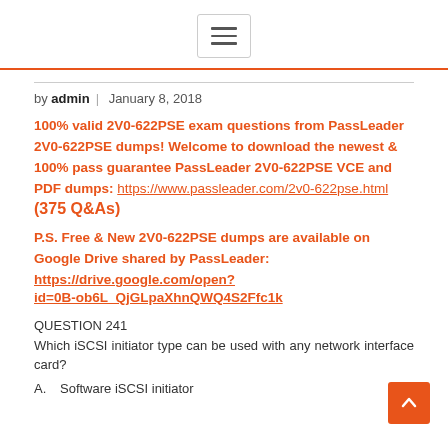≡ (hamburger menu icon)
by admin | January 8, 2018
100% valid 2V0-622PSE exam questions from PassLeader 2V0-622PSE dumps! Welcome to download the newest & 100% pass guarantee PassLeader 2V0-622PSE VCE and PDF dumps: https://www.passleader.com/2v0-622pse.html (375 Q&As)
P.S. Free & New 2V0-622PSE dumps are available on Google Drive shared by PassLeader: https://drive.google.com/open?id=0B-ob6L_QjGLpaXhnQWQ4S2Ffc1k
QUESTION 241
Which iSCSI initiator type can be used with any network interface card?
A.  Software iSCSI initiator